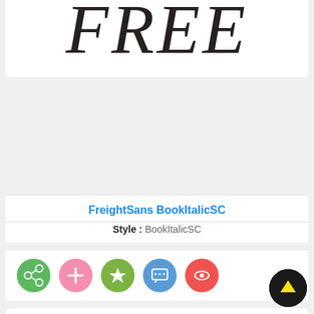[Figure (screenshot): Font preview showing 'FREE' in dark italic serif font (FreightSans BookItalicSC)]
FreightSans BookItalicSC
Style : BookItalicSC
[Figure (screenshot): Action buttons row: share (green), add (pink), favorite (green), comment (blue), view (red)]
[Figure (screenshot): Font preview showing 'free' in a large tan/beige serif font]
[Figure (screenshot): Scroll-to-top button, black circle with yellow upward arrow]